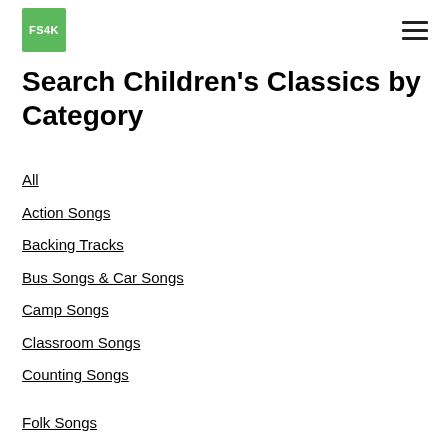FS4K
Search Children's Classics by Category
All
Action Songs
Backing Tracks
Bus Songs & Car Songs
Camp Songs
Classroom Songs
Counting Songs
Folk Songs
Free Sheet Music
Lyrics And Chords